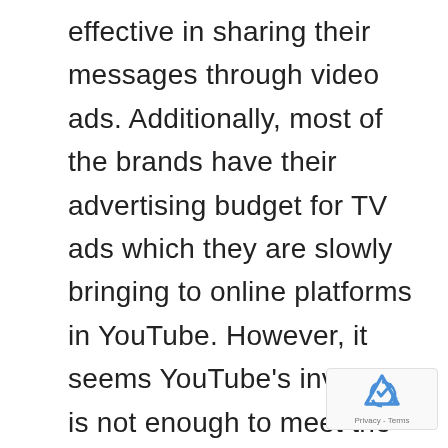effective in sharing their messages through video ads. Additionally, most of the brands have their advertising budget for TV ads which they are slowly bringing to online platforms in YouTube. However, it seems YouTube's inventory is not enough to meet the requirements of the brands and they are looking to target additional websites. This has led to an increased demand for in-stream video ads and publishers are making good money from these ad formats. In this article, we will discuss the top 10 best video ad networks in India which can help Indian bloggers and publishers earn incremental ad revenue
[Figure (logo): reCAPTCHA badge with Google logo and Privacy - Terms text]